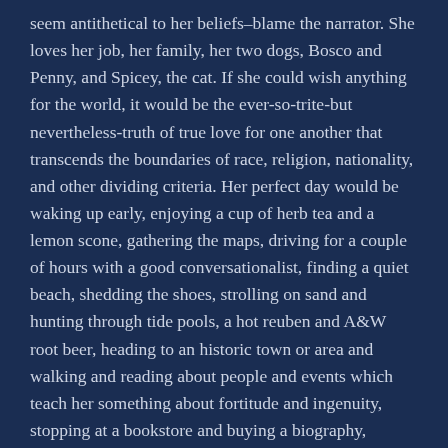seem antithetical to her beliefs–blame the narrator. She loves her job, her family, her two dogs, Bosco and Penny, and Spicey, the cat. If she could wish anything for the world, it would be the ever-so-trite-but nevertheless-truth of true love for one another that transcends the boundaries of race, religion, nationality, and other dividing criteria. Her perfect day would be waking up early, enjoying a cup of herb tea and a lemon scone, gathering the maps, driving for a couple of hours with a good conversationalist, finding a quiet beach, shedding the shoes, strolling on sand and hunting through tide pools, a hot reuben and A&W root beer, heading to an historic town or area and walking and reading about people and events which teach her something about fortitude and ingenuity, stopping at a bookstore and buying a biography, finding the local mom and pop cafe for dinner, going to a local show, a small gelato, writing a poem, and sharing a room with a view.
M E T A